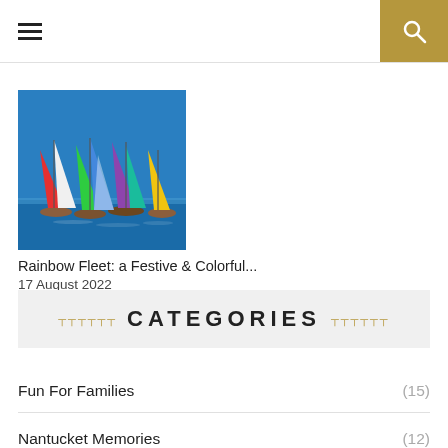≡ [hamburger menu] | [search icon]
[Figure (photo): Colorful sailboats with multicolored sails (rainbow fleet) racing on blue water]
Rainbow Fleet: a Festive & Colorful...
17 August 2022
CATEGORIES
Fun For Families (15)
Nantucket Memories (12)